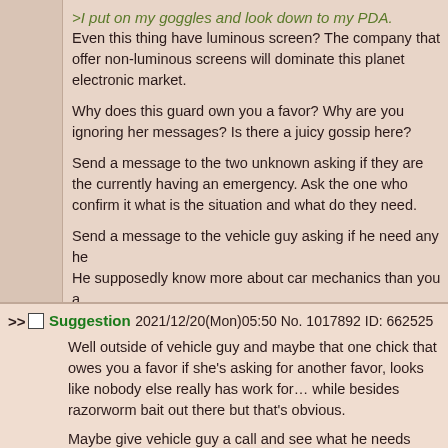>I put on my goggles and look down to my PDA.
Even this thing have luminous screen? The company that offer non-luminous screens will dominate this planet electronic market.
Why does this guard own you a favor? Why are you ignoring her messages? Is there a juicy gossip here?
Send a message to the two unknown asking if they are the currently having an emergency. Ask the one who confirm it what is the situation and what do they need.
Send a message to the vehicle guy asking if he need any help. He supposedly know more about car mechanics than you already have two friends he dismissed, so it seems unlikely would need anything, but leave the offer just in case.
Suggestion 2021/12/20(Mon)05:50 No. 1017892 ID: 662525
Well outside of vehicle guy and maybe that one chick that owes you a favor if she's asking for another favor, looks like nobody else really has work for… while besides razorworm bait out there but that's obvious.
Maybe give vehicle guy a call and see what he needs help with. I mean maybe he's dealing in that direction.